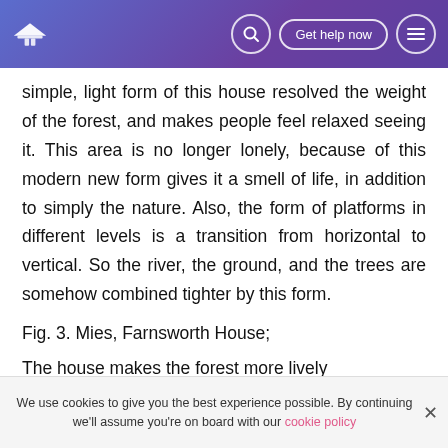Navigation header with logo, search, Get help now button, and menu icon
simple, light form of this house resolved the weight of the forest, and makes people feel relaxed seeing it. This area is no longer lonely, because of this modern new form gives it a smell of life, in addition to simply the nature. Also, the form of platforms in different levels is a transition from horizontal to vertical. So the river, the ground, and the trees are somehow combined tighter by this form.
Fig. 3. Mies, Farnsworth House;
The house makes the forest more lively
Form and function
We use cookies to give you the best experience possible. By continuing we'll assume you're on board with our cookie policy